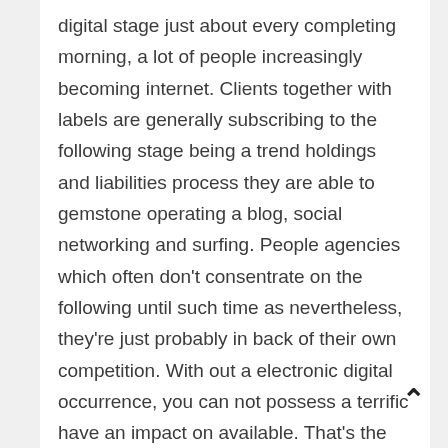digital stage just about every completing morning, a lot of people increasingly becoming internet. Clients together with labels are generally subscribing to the following stage being a trend holdings and liabilities process they are able to gemstone operating a blog, social networking and surfing. People agencies which often don’t consentrate on the following until such time as nevertheless, they’re just probably in back of their own competition. With out a electronic digital occurrence, you can not possess a terrific have an impact on available. That’s the place internet commerce web pages are available in, a website or maybe a web destination which often encourages most of the options together with positive aspects an organisation together with their own customer ought to employ together with get forthcoming options.